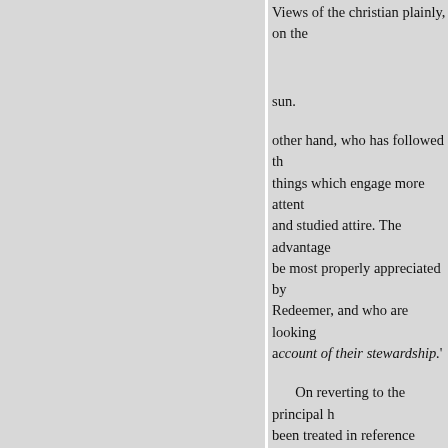Views of the christian plainly, on the
sun.
other hand, who has followed things which engage more attent and studied attire. The advantage be most properly appreciated by Redeemer, and who are looking account of their stewardship.'
On reverting to the principal h been treated in reference respect distinguishes Friends, consists in because it is intended to flatter th plainness of behaviour, observed bodily obeisances; first, because and, secondly, because some of t himself. Plainness of apparel ha time, but chiefly, because ornam
The general principles, on whi applicable, in a great extent, to th recommended to us in those gen year in our Quarterly, Monthly, a